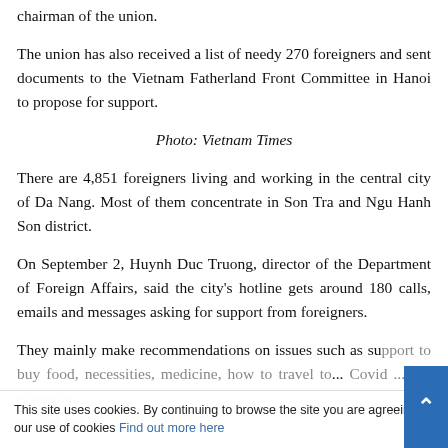chairman of the union.
The union has also received a list of needy 270 foreigners and sent documents to the Vietnam Fatherland Front Committee in Hanoi to propose for support.
Photo: Vietnam Times
There are 4,851 foreigners living and working in the central city of Da Nang. Most of them concentrate in Son Tra and Ngu Hanh Son district.
On September 2, Huynh Duc Truong, director of the Department of Foreign Affairs, said the city's hotline gets around 180 calls, emails and messages asking for support from foreigners.
They mainly make recommendations on issues such as support to buy food, necessities, medicine, how to travel to... Covid ...visa ext... procedures.
This site uses cookies. By continuing to browse the site you are agreeing to our use of cookies Find out more here